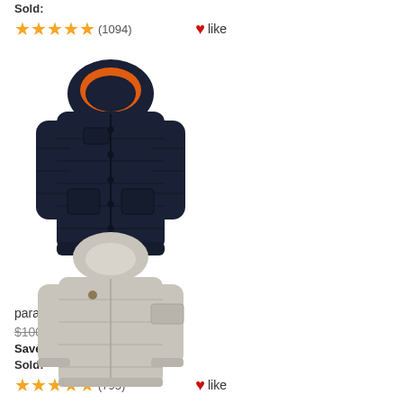Sold:
★★★★★ (1094)  ♥like
[Figure (photo): Dark navy blue parajumper puffer jacket with orange interior lining visible at hood, hooded, multiple front pockets]
parajumper jacket
$100.00  $72.00
Save: 28% off
Sold:
★★★★★ (795)  ♥like
[Figure (photo): Light grey/cream parajumper hooded lightweight jacket with arm pocket detail]